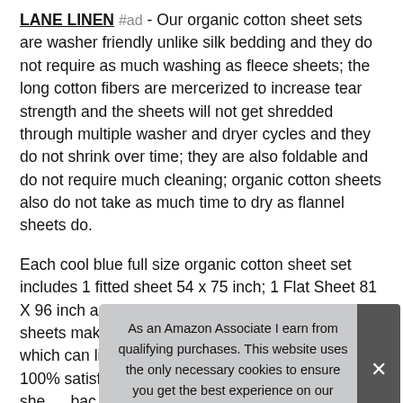LANE LINEN #ad - Our organic cotton sheet sets are washer friendly unlike silk bedding and they do not require as much washing as fleece sheets; the long cotton fibers are mercerized to increase tear strength and the sheets will not get shredded through multiple washer and dryer cycles and they do not shrink over time; they are also foldable and do not require much cleaning; organic cotton sheets also do not take as much time to dry as flannel sheets do.
Each cool blue full size organic cotton sheet set includes 1 fitted sheet 54 x 75 inch; 1 Flat Sheet 81 X 96 inch and 2 Pillowcases 20 X 30 inch; our bed sheets make great gifts and come in multiple colors which can liven up any bedroom and every home. 100% satisfaction guarantee; our organic cotton sheets... unsatisfied with our sheets we will refund your money if
As an Amazon Associate I earn from qualifying purchases. This website uses the only necessary cookies to ensure you get the best experience on our website. More information